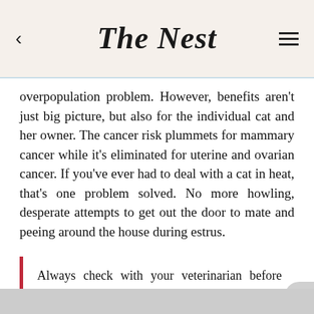The Nest
overpopulation problem. However, benefits aren't just big picture, but also for the individual cat and her owner. The cancer risk plummets for mammary cancer while it's eliminated for uterine and ovarian cancer. If you've ever had to deal with a cat in heat, that's one problem solved. No more howling, desperate attempts to get out the door to mate and peeing around the house during estrus.
Always check with your veterinarian before changing your pet's diet, medication, or physical activity routines. This information is not a substitute for a vet's opinion.